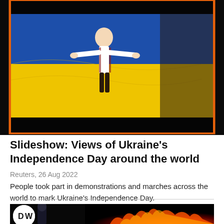[Figure (photo): Person in embroidered Ukrainian shirt with arms spread wide in front of large blue and yellow Ukrainian flag, crowd visible in background, image framed with orange border, black bars at top and bottom]
Slideshow: Views of Ukraine's Independence Day around the world
Reuters, 26 Aug 2022
People took part in demonstrations and marches across the world to mark Ukraine's Independence Day.
[Figure (photo): Dark scene with large fire and flames, person visible on left side, DW logo in lower left corner]